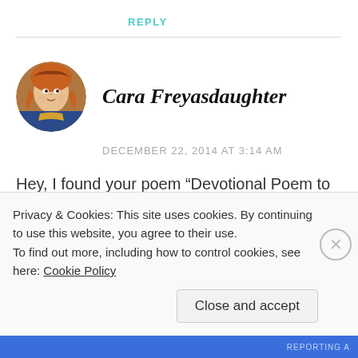REPLY
[Figure (photo): Circular avatar image of Cara Freyasdaughter showing a colorful illustrated portrait]
Cara Freyasdaughter
DECEMBER 22, 2014 AT 3:14 AM
Hey, I found your poem “Devotional Poem to
Privacy & Cookies: This site uses cookies. By continuing to use this website, you agree to their use.
To find out more, including how to control cookies, see here: Cookie Policy
Close and accept